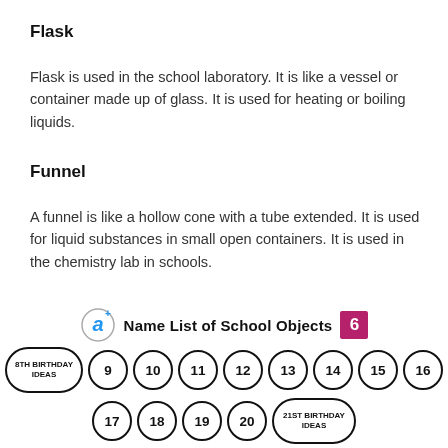Flask
Flask is used in the school laboratory. It is like a vessel or container made up of glass. It is used for heating or boiling liquids.
Funnel
A funnel is like a hollow cone with a tube extended. It is used for liquid substances in small open containers. It is used in the chemistry lab in schools.
Name List of School Objects 6 | 8TH BIRTHDAY IDEAS 9 10 11 12 13 14 15 16 17 18 19 20 21ST BIRTHDAY IDEAS